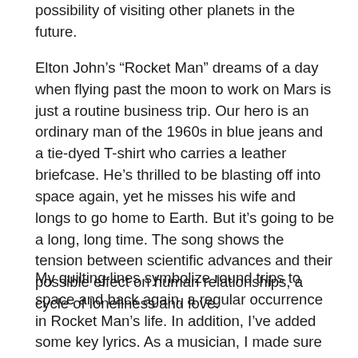possibility of visiting other planets in the future.
Elton John’s “Rocket Man” dreams of a day when flying past the moon to work on Mars is just a routine business trip. Our hero is an ordinary man of the 1960s in blue jeans and a tie-dyed T-shirt who carries a leather briefcase. He’s thrilled to be blasting off into space again, yet he misses his wife and longs to go home to Earth. But it’s going to be a long, long time. The song shows the tension between scientific advances and their possible effect on human relationships, a cycle of loneliness and love.
My quilting lines symbolize round trips to space and back again, a regular occurrence in Rocket Man’s life. In addition, I’ve added some key lyrics. As a musician, I made sure that the number of quilted words falls within the legal copyright limit. All credit goes to genius